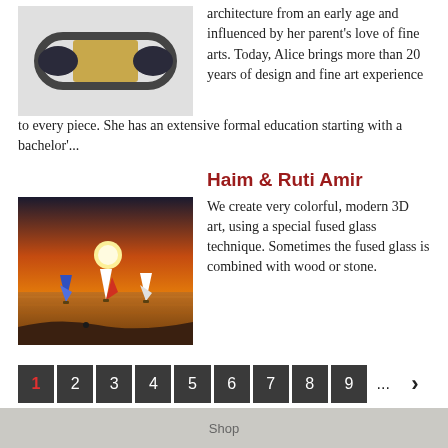[Figure (photo): Close-up photo of a bracelet or jewelry piece with dark and gold tones]
architecture from an early age and influenced by her parent's love of fine arts. Today, Alice brings more than 20 years of design and fine art experience to every piece. She has an extensive formal education starting with a bachelor'...
[Figure (photo): Photo of sailboats on water at sunset with orange sky]
Haim & Ruti Amir
We create very colorful, modern 3D art, using a special fused glass technique. Sometimes the fused glass is combined with wood or stone.
Pagination: 1 2 3 4 5 6 7 8 9 ... >